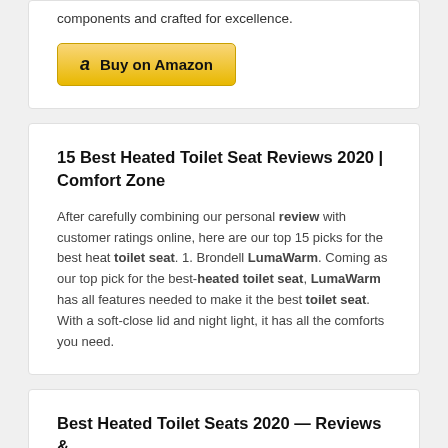components and crafted for excellence.
[Figure (other): Buy on Amazon button with Amazon logo]
15 Best Heated Toilet Seat Reviews 2020 | Comfort Zone
After carefully combining our personal review with customer ratings online, here are our top 15 picks for the best heat toilet seat. 1. Brondell LumaWarm. Coming as our top pick for the best-heated toilet seat, LumaWarm has all features needed to make it the best toilet seat. With a soft-close lid and night light, it has all the comforts you need.
Best Heated Toilet Seats 2020 — Reviews & Top Picks | Shop ...